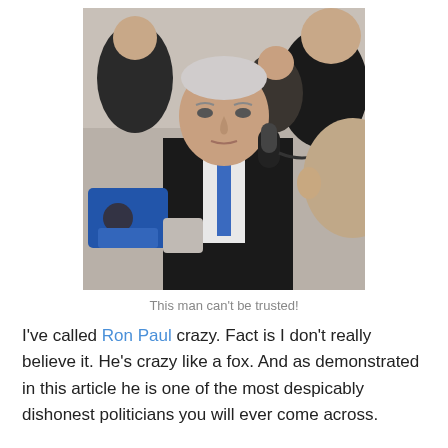[Figure (photo): A man in a dark suit and blue tie being interviewed, speaking into a microphone held by someone off-frame, surrounded by other people. The central figure is an older white-haired man looking directly at the camera.]
This man can't be trusted!
I've called Ron Paul crazy. Fact is I don't really believe it. He's crazy like a fox. And as demonstrated in this article he is one of the most despicably dishonest politicians you will ever come across.